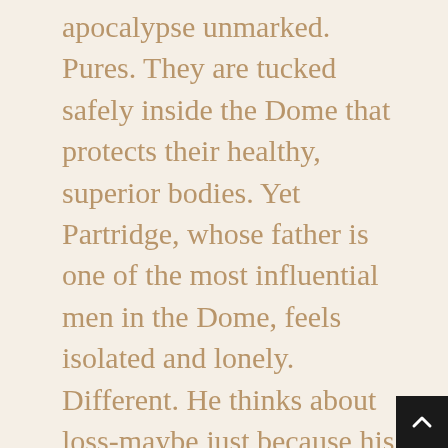apocalypse unmarked. Pures. They are tucked safely inside the Dome that protects their healthy, superior bodies. Yet Partridge, whose father is one of the most influential men in the Dome, feels isolated and lonely. Different. He thinks about loss-maybe just because his family is broken; his father is emotionally distant; his brother killed himself; and his mother never made it inside their shelter. Or maybe it's his claustrophobia: his feeling that this Dome has become a swaddling of intensely rigid order. So when a